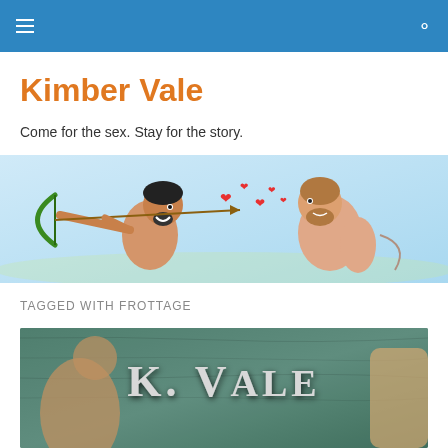Navigation bar with menu icon and search icon
Kimber Vale
Come for the sex. Stay for the story.
[Figure (illustration): Cartoon illustration of two figures: one holding a bow and arrow shooting hearts at another figure, on a light blue background]
TAGGED WITH FROTTAGE
[Figure (photo): Book cover image with text 'K. Vale' in large silver serif letters on a teal/green textured background, with partial figures visible]